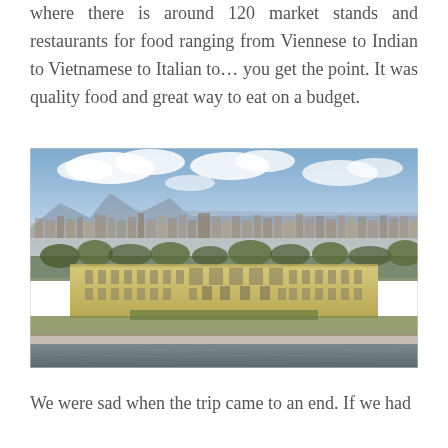where there is around 120 market stands and restaurants for food ranging from Viennese to Indian to Vietnamese to Italian to… you get the point. It was quality food and great way to eat on a budget.
[Figure (photo): Aerial/elevated view of Schönbrunn Palace in Vienna with the city skyline and mountains in the background, and a body of water in the foreground.]
We were sad when the trip came to an end. If we had